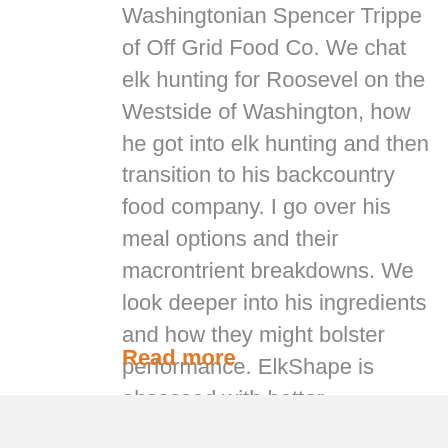Washingtonian Spencer Trippe of Off Grid Food Co. We chat elk hunting for Roosevel on the Westside of Washington, how he got into elk hunting and then transition to his backcountry food company. I go over his meal options and their macrontrient breakdowns. We look deeper into his ingredients and how they might bolster performance. ElkShape is obsessed with better performance and better hunting. We've brought on other food companies before and we go into these interviews with an open mind and try to understand how these foods can benefit us when we're at...
Read more